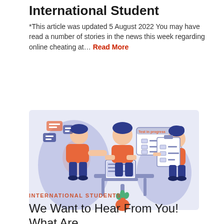International Student
*This article was updated 5 August 2022 You may have read a number of stories in the news this week regarding online cheating at… Read More
[Figure (illustration): Illustration of three students: one gesturing with chat bubbles, one sitting at a laptop with a 'Test in progress' screen, and one holding a checklist clipboard, in blue and orange color scheme]
INTERNATIONAL STUDENTS
We Want to Hear From You! What Are